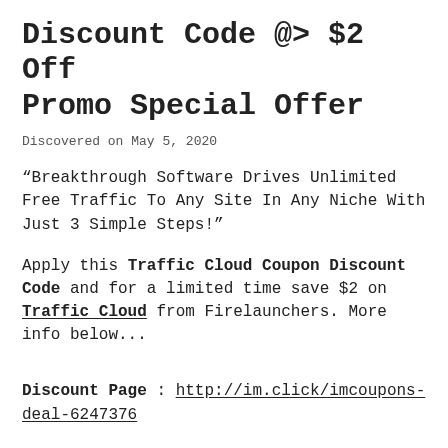Discount Code @> $2 Off Promo Special Offer
Discovered on May 5, 2020
“Breakthrough Software Drives Unlimited Free Traffic To Any Site In Any Niche With Just 3 Simple Steps!”
Apply this Traffic Cloud Coupon Discount Code and for a limited time save $2 on Traffic Cloud from Firelaunchers. More info below...
Discount Page : http://im.click/imcoupons-deal-6247376
Coupon Code : TRAFFIC$2OFF/redeem via discount